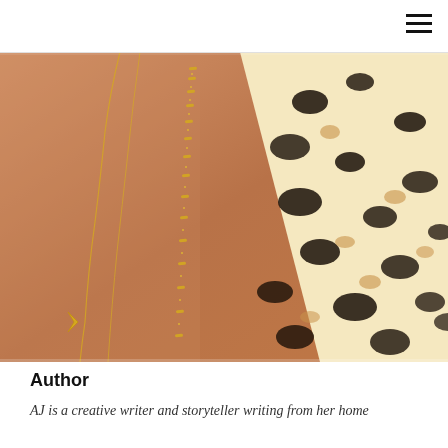[Figure (photo): Close-up photo of a woman's torso wearing gold chain necklaces and a leopard/animal-print dress or top with warm skin tones]
Author
AJ is a creative writer and storyteller writing from her home